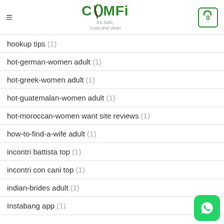COMFI - It's Safe, Cozy and clean
hookup tips (1)
hot-german-women adult (1)
hot-greek-women adult (1)
hot-guatemalan-women adult (1)
hot-moroccan-women want site reviews (1)
how-to-find-a-wife adult (1)
incontri battista top (1)
incontri con cani top (1)
indian-brides adult (1)
Instabang app (1)
[Figure (logo): WhatsApp floating button in green]